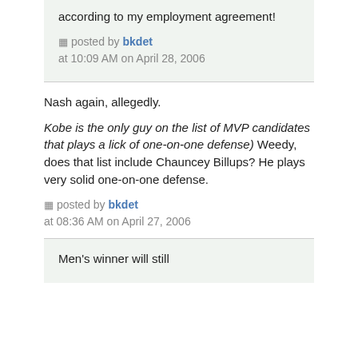according to my employment agreement!
posted by bkdet at 10:09 AM on April 28, 2006
Nash again, allegedly.
Kobe is the only guy on the list of MVP candidates that plays a lick of one-on-one defense) Weedy, does that list include Chauncey Billups? He plays very solid one-on-one defense.
posted by bkdet at 08:36 AM on April 27, 2006
Men's winner will still